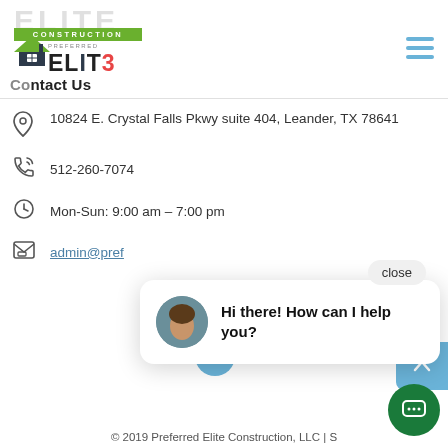[Figure (logo): Preferred Elite Construction company logo with house icon and green banner]
Contact Us
10824 E. Crystal Falls Pkwy suite 404, Leander, TX 78641
512-260-7074
Mon-Sun: 9:00 am – 7:00 pm
admin@pref
[Figure (screenshot): Chat popup with avatar photo and message 'Hi there! How can I help you?' with close button]
© 2019 Preferred Elite Construction, LLC | S